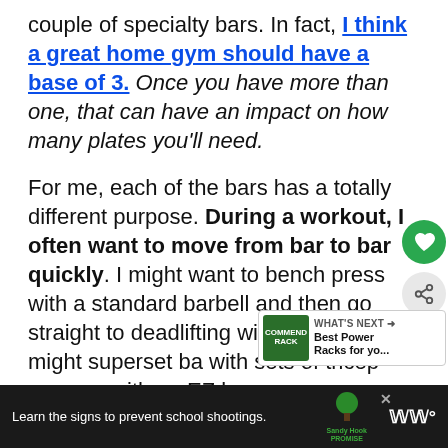couple of specialty bars. In fact, I think a great home gym should have a base of 3. Once you have more than one, that can have an impact on how many plates you'll need.
For me, each of the bars has a totally different purpose. During a workout, I often want to move from bar to bar quickly. I might want to bench press with a standard barbell and then go straight to deadlifting with a trap bar. I might superset bar with sets of tricep presses with an EZ bar.
[Figure (screenshot): UI overlay with heart (favorite) button in green circle and share button in gray circle]
[Figure (screenshot): What's Next card showing 'Best Power Racks for yo...' with green thumbnail image and COMMEND RACK branding]
[Figure (screenshot): Advertisement bar at bottom: black background, 'Learn the signs to prevent school shootings.' text, Sandy Hook Promise logo with green tree, and Wondery podcast logo]